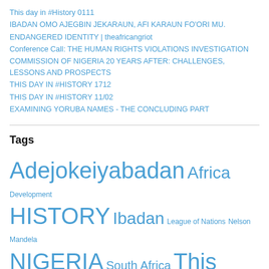This day in #History 0111
IBADAN OMO AJEGBIN JEKARAUN, AFI KARAUN FO'ORI MU.
ENDANGERED IDENTITY | theafricangriot
Conference Call: THE HUMAN RIGHTS VIOLATIONS INVESTIGATION COMMISSION OF NIGERIA 20 YEARS AFTER: CHALLENGES, LESSONS AND PROSPECTS
THIS DAY IN #HISTORY 1712
THIS DAY IN #HISTORY 11/02
EXAMINING YORUBA NAMES - THE CONCLUDING PART
Tags
Adejokeiyabadan Africa Development HISTORY Ibadan League of Nations Nelson Mandela NIGERIA South Africa This Day in History